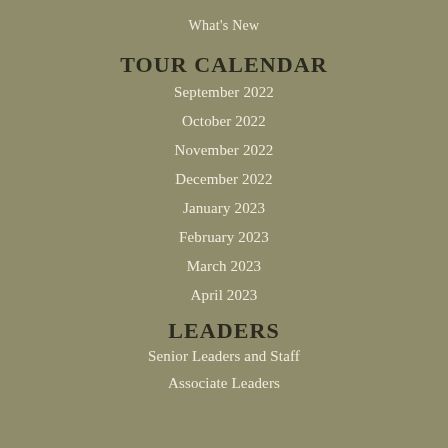What's New
TOUR CALENDAR
September 2022
October 2022
November 2022
December 2022
January 2023
February 2023
March 2023
April 2023
LEADERS
Senior Leaders and Staff
Associate Leaders